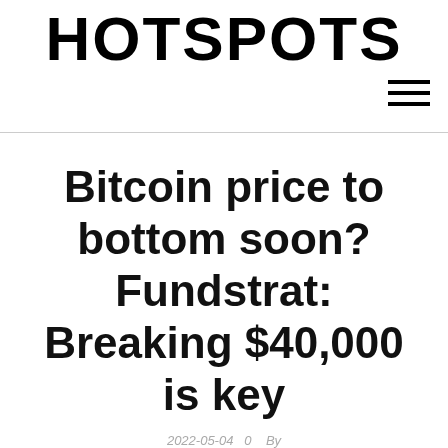HOTSPOTS
Bitcoin price to bottom soon?Fundstrat: Breaking $40,000 is key
2022-05-04  0    By